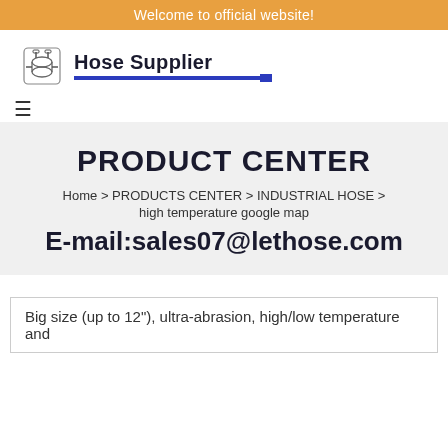Welcome to official website!
[Figure (logo): Hose Supplier logo with industrial hose icon and bold text 'Hose Supplier' with blue underline]
PRODUCT CENTER
Home > PRODUCTS CENTER > INDUSTRIAL HOSE > high temperature google map
E-mail:sales07@lethose.com
Big size (up to 12"), ultra-abrasion, high/low temperature and